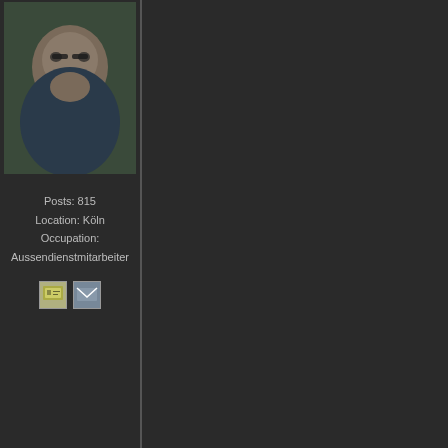[Figure (photo): Profile photo of a middle-aged man with glasses and beard, wearing dark shirt, top section]
Posts: 815
Location: Köln
Occupation: Aussendienstmitarbeiter
[Figure (photo): Two small icon images (message/email icons)]
A.M.A.N.
Professional
★★★
[Figure (photo): Profile photo of same man smiling, bottom section]
Sunday, April 2nd 2017, 7:37pm
Loops & Strings 495 with A.M.A.N. (26.03.17)
01. Miro - By your Side ( 3 Access & You Remix )
02. 4 Strings - Solid Session ( Original Mix )
03. Frank Waanders & Maglev - Trazzard ( Uplifting Exte
04. Physical Dreams - Love Parade ( Original Mix )
05. Dan Thompson - Neptune ( Extended Mix )
06. Beat Service - So You win again ( F.G. Noise Remix )
07. Blueseven - Lovers Beach ( Original Mix )
08. Robert Nickson - Heliopause ( Extended Mix )
09. Omniks - Faceless ( Original Mix )
10. Matt Darey Feat Kate Louise Smith - See The Sun (